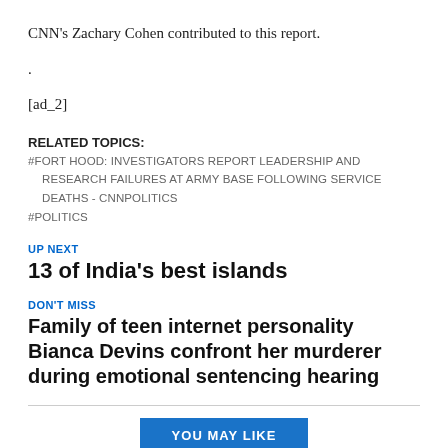CNN’s Zachary Cohen contributed to this report.
.
[ad_2]
RELATED TOPICS:
#FORT HOOD: INVESTIGATORS REPORT LEADERSHIP AND RESEARCH FAILURES AT ARMY BASE FOLLOWING SERVICE DEATHS - CNNPOLITICS
#POLITICS
UP NEXT
13 of India’s best islands
DON’T MISS
Family of teen internet personality Bianca Devins confront her murderer during emotional sentencing hearing
YOU MAY LIKE